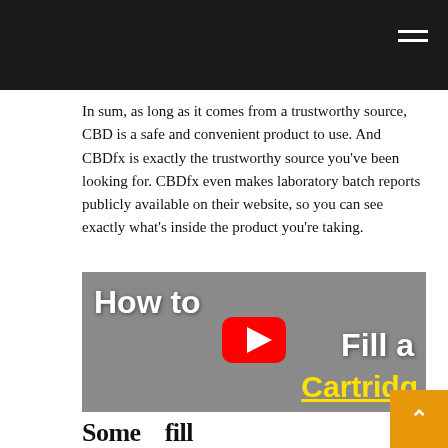In sum, as long as it comes from a trustworthy source, CBD is a safe and convenient product to use. And CBDfx is exactly the trustworthy source you’ve been looking for. CBDfx even makes laboratory batch reports publicly available on their website, so you can see exactly what’s inside the product you’re taking.
[Figure (screenshot): Embedded YouTube video thumbnail showing hands holding a vape cartridge with text overlaid: 'How to Fill a Cartridge' with a YouTube play button in the center. The word 'Cartridge' is in yellow underlined text.]
Some text fill...